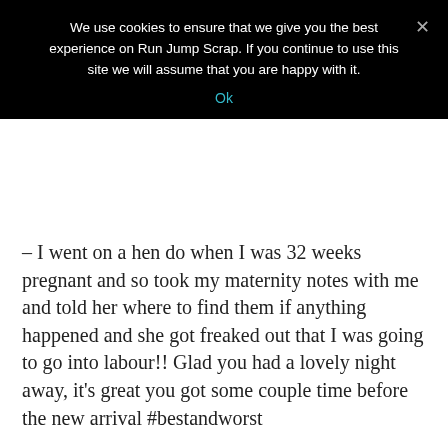We use cookies to ensure that we give you the best experience on Run Jump Scrap. If you continue to use this site we will assume that you are happy with it.
Ok
– I went on a hen do when I was 32 weeks pregnant and so took my maternity notes with me and told her where to find them if anything happened and she got freaked out that I was going to go into labour!! Glad you had a lovely night away, it's great you got some couple time before the new arrival #bestandworst
CRUMMY MUMMY
SEPTEMBER 19, 2016 / 6:56 PM
Good lord, this will be me before too long! Glad you had a good time – looks fab! #bestandworst